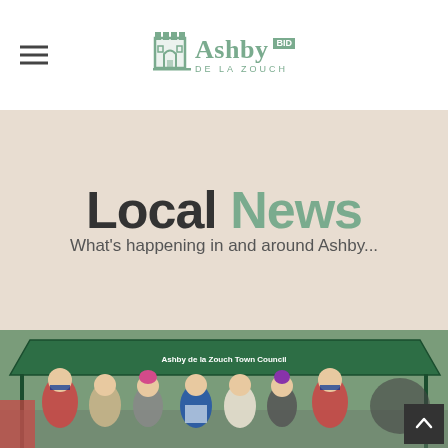Ashby de la Zouch BID
Local News
What's happening in and around Ashby...
[Figure (photo): Group of people standing under a green gazebo branded 'Ashby de la Zouch Town Council', some wearing Union Jack attire, at an outdoor event]